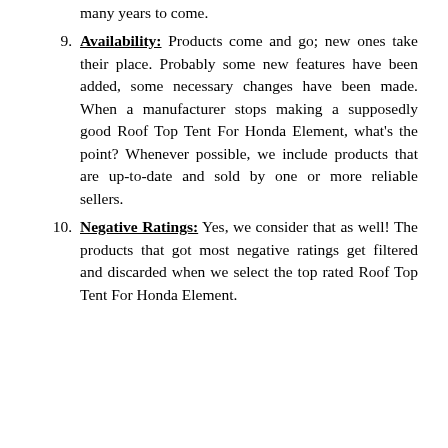many years to come.
9. Availability: Products come and go; new ones take their place. Probably some new features have been added, some necessary changes have been made. When a manufacturer stops making a supposedly good Roof Top Tent For Honda Element, what's the point? Whenever possible, we include products that are up-to-date and sold by one or more reliable sellers.
10. Negative Ratings: Yes, we consider that as well! The products that got most negative ratings get filtered and discarded when we select the top rated Roof Top Tent For Honda Element.